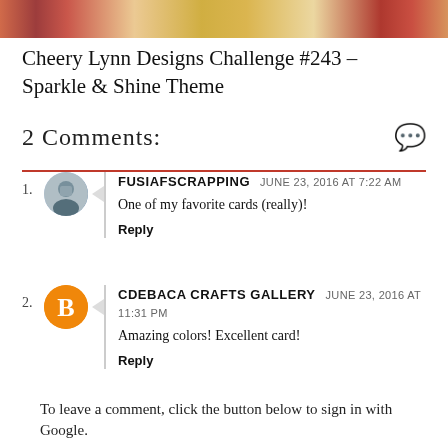[Figure (photo): Top banner image showing decorative crafts with warm red, gold, and orange tones]
Cheery Lynn Designs Challenge #243 – Sparkle & Shine Theme
2 Comments:
FUSIAFSCRAPPING   JUNE 23, 2016 AT 7:22 AM
One of my favorite cards (really)!
Reply
CDEBACA CRAFTS GALLERY   JUNE 23, 2016 AT 11:31 PM
Amazing colors! Excellent card!
Reply
To leave a comment, click the button below to sign in with Google.